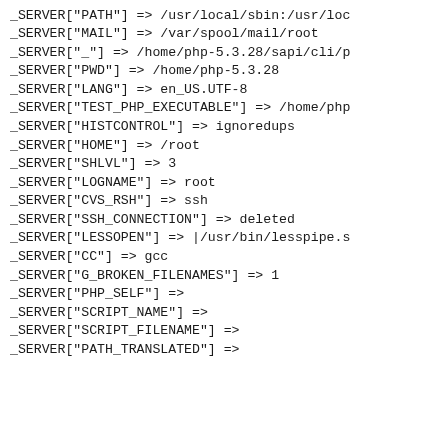_SERVER["PATH"] => /usr/local/sbin:/usr/loc
_SERVER["MAIL"] => /var/spool/mail/root
_SERVER["_"] => /home/php-5.3.28/sapi/cli/p
_SERVER["PWD"] => /home/php-5.3.28
_SERVER["LANG"] => en_US.UTF-8
_SERVER["TEST_PHP_EXECUTABLE"] => /home/php
_SERVER["HISTCONTROL"] => ignoredups
_SERVER["HOME"] => /root
_SERVER["SHLVL"] => 3
_SERVER["LOGNAME"] => root
_SERVER["CVS_RSH"] => ssh
_SERVER["SSH_CONNECTION"] => deleted
_SERVER["LESSOPEN"] => |/usr/bin/lesspipe.s
_SERVER["CC"] => gcc
_SERVER["G_BROKEN_FILENAMES"] => 1
_SERVER["PHP_SELF"] =>
_SERVER["SCRIPT_NAME"] =>
_SERVER["SCRIPT_FILENAME"] =>
_SERVER["PATH_TRANSLATED"] =>